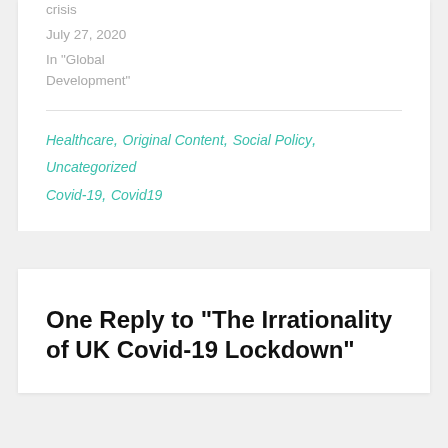crisis
July 27, 2020
In "Global Development"
Healthcare, Original Content, Social Policy, Uncategorized
Covid-19, Covid19
One Reply to “The Irrationality of UK Covid-19 Lockdown”